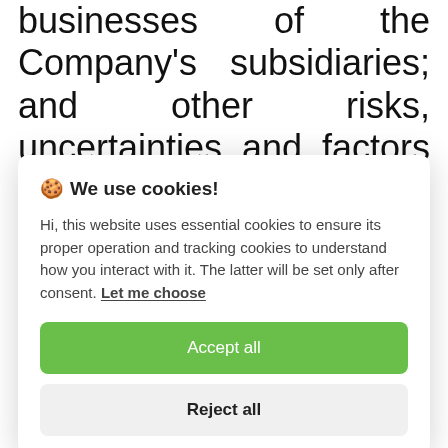businesses of the Company's subsidiaries; and other risks, uncertainties and factors including, but not limited to, those described in the Company's Annual Report on Form 10-K for the fiscal year ended March 31, 2021
[Figure (screenshot): Cookie consent modal overlay with title 'We use cookies!', body text about essential and tracking cookies, a green 'Accept all' button, and a grey 'Reject all' button.]
Quarterly Report on Form 10-Q for the